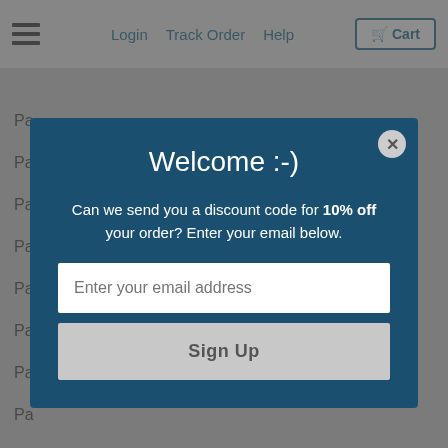Login  Track Order  Help  Cart
Pa...
Pa...
Pa...
Pa...
Pa...
Pa...
Pa...
Pa...
Pa...
Pa...
Patron Saint 1 through 2 Medals (40)
Inexpensive Oxidized Picture Medals (17)
Inexpensive 1" Oxidized Medals (143)
[Figure (screenshot): Modal popup with dark blue background showing 'Welcome :-)' heading, discount code offer text, email input field with placeholder 'Enter your email address', and a Sign Up button. Close button (X) in top right corner.]